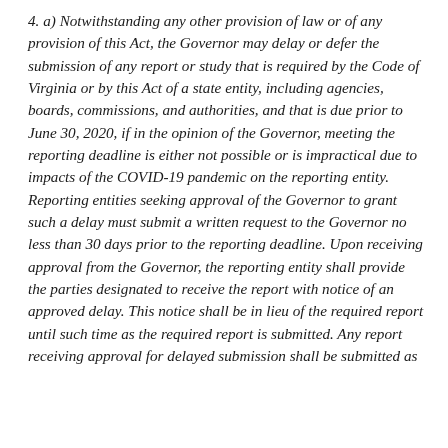4. a) Notwithstanding any other provision of law or of any provision of this Act, the Governor may delay or defer the submission of any report or study that is required by the Code of Virginia or by this Act of a state entity, including agencies, boards, commissions, and authorities, and that is due prior to June 30, 2020, if in the opinion of the Governor, meeting the reporting deadline is either not possible or is impractical due to impacts of the COVID-19 pandemic on the reporting entity. Reporting entities seeking approval of the Governor to grant such a delay must submit a written request to the Governor no less than 30 days prior to the reporting deadline. Upon receiving approval from the Governor, the reporting entity shall provide the parties designated to receive the report with notice of an approved delay. This notice shall be in lieu of the required report until such time as the required report is submitted. Any report receiving approval for delayed submission shall be submitted as